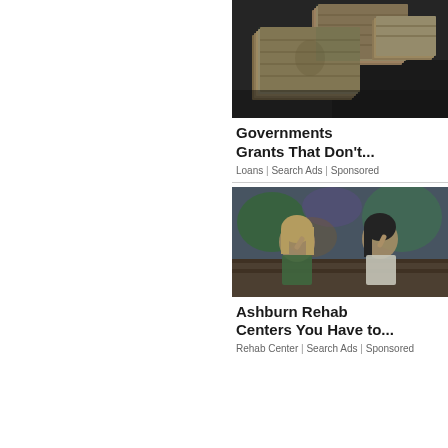[Figure (photo): Stacks of US dollar bills laid out on a dark surface]
Governments Grants That Don't...
Loans | Search Ads | Sponsored
[Figure (photo): Two young women sitting against a graffiti wall outdoors]
Ashburn Rehab Centers You Have to...
Rehab Center | Search Ads | Sponsored